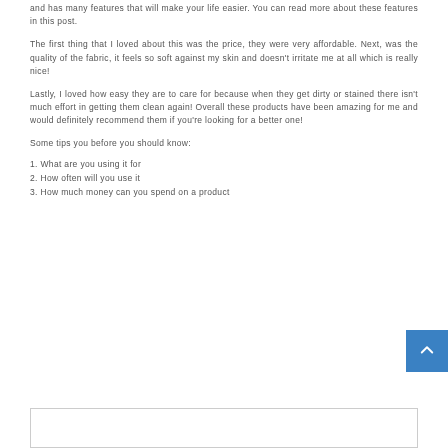and has many features that will make your life easier. You can read more about these features in this post.
The first thing that I loved about this was the price, they were very affordable. Next, was the quality of the fabric, it feels so soft against my skin and doesn't irritate me at all which is really nice!
Lastly, I loved how easy they are to care for because when they get dirty or stained there isn't much effort in getting them clean again! Overall these products have been amazing for me and would definitely recommend them if you're looking for a better one!
Some tips you before you should know:
1. What are you using it for
2. How often will you use it
3. How much money can you spend on a product